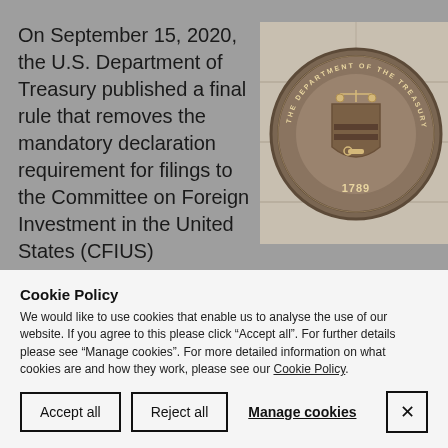On September 15, 2020, the U.S. Department of Treasury published a final rule that removes the mandatory declaration requirement for filings to the Committee on Foreign Investment in the United States (CFIUS)
[Figure (photo): Bronze seal/medallion of the U.S. Department of the Treasury, dated 1789, mounted on a stone wall]
Cookie Policy
We would like to use cookies that enable us to analyse the use of our website. If you agree to this please click “Accept all”. For further details please see “Manage cookies”. For more detailed information on what cookies are and how they work, please see our Cookie Policy.
Accept all
Reject all
Manage cookies